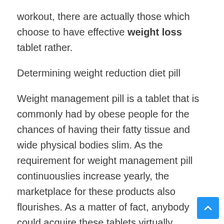workout, there are actually those which choose to have effective weight loss tablet rather.
Determining weight reduction diet pill
Weight management pill is a tablet that is commonly had by obese people for the chances of having their fatty tissue and wide physical bodies slim. As the requirement for weight management pill continuouslies increase yearly, the marketplace for these products also flourishes. As a matter of fact, anybody could acquire these tablets virtually anywhere in the globe.
There are pair of sorts of fat burning tablets: The prescribed weight loss supplement and the over the